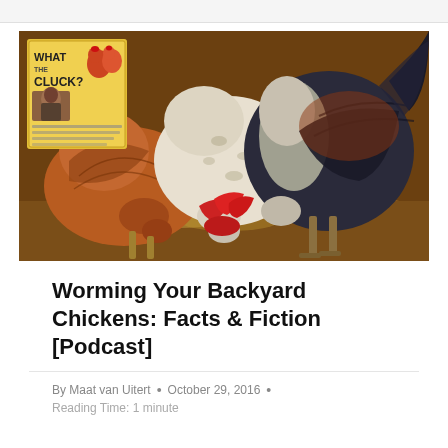[Figure (photo): Photo of backyard chickens pecking at grain on dirt ground, two or three chickens including a large rooster with red comb. Inset in top-left corner shows a podcast cover image labeled 'What the Cluck?' with cartoon chickens.]
Worming Your Backyard Chickens: Facts & Fiction [Podcast]
By Maat van Uitert • October 29, 2016 •
Reading Time: 1 minute